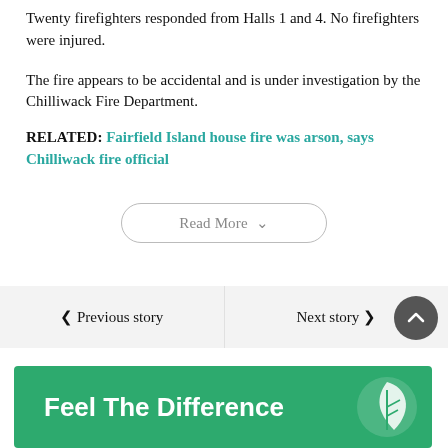Twenty firefighters responded from Halls 1 and 4. No firefighters were injured.
The fire appears to be accidental and is under investigation by the Chilliwack Fire Department.
RELATED: Fairfield Island house fire was arson, says Chilliwack fire official
Read More
◀ Previous story
Next story ▶
[Figure (other): Green advertisement banner reading 'Feel The Difference' with a leaf logo on the right side]